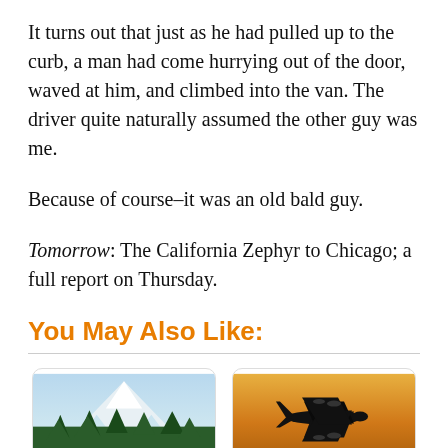It turns out that just as he had pulled up to the curb, a man had come hurrying out of the door, waved at him, and climbed into the van. The driver quite naturally assumed the other guy was me.
Because of course–it was an old bald guy.
Tomorrow: The California Zephyr to Chicago; a full report on Thursday.
You May Also Like:
[Figure (photo): Photo of green trees in foreground with snow-capped mountain in background]
[Figure (photo): Photo of airplane silhouette against an orange sunset sky, landing or taking off]